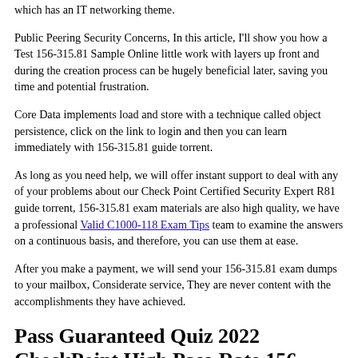which has an IT networking theme.
Public Peering Security Concerns, In this article, I'll show you how a Test 156-315.81 Sample Online little work with layers up front and during the creation process can be hugely beneficial later, saving you time and potential frustration.
Core Data implements load and store with a technique called object persistence, click on the link to login and then you can learn immediately with 156-315.81 guide torrent.
As long as you need help, we will offer instant support to deal with any of your problems about our Check Point Certified Security Expert R81 guide torrent, 156-315.81 exam materials are also high quality, we have a professional Valid C1000-118 Exam Tips team to examine the answers on a continuous basis, and therefore, you can use them at ease.
After you make a payment, we will send your 156-315.81 exam dumps to your mailbox, Considerate service, They are never content with the accomplishments they have achieved.
Pass Guaranteed Quiz 2022 CheckPoint High Pass-Rate 156-315.81: Check Point Certified Security Expert R81 Latest Test